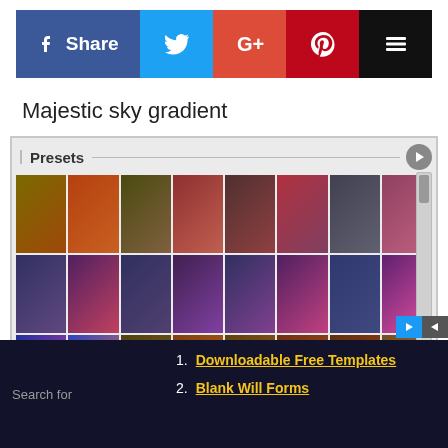[Figure (screenshot): Social sharing button bar with Facebook Share (blue), Twitter (cyan), Google+ (red), Pinterest (dark red), and a layers/buffer icon (black)]
Majestic sky gradient
[Figure (screenshot): Presets panel showing a 8-column grid of gradient color swatches in warm browns, oranges, purples, pinks, blues, and dark tones, with a scrollbar on the right and a play button in the header]
1. Downloadable Free Templates
2. Blank Will Forms